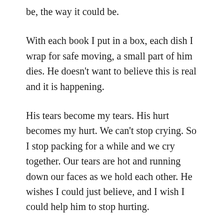be, the way it could be.
With each book I put in a box, each dish I wrap for safe moving, a small part of him dies. He doesn’t want to believe this is real and it is happening.
His tears become my tears. His hurt becomes my hurt. We can’t stop crying. So I stop packing for a while and we cry together. Our tears are hot and running down our faces as we hold each other. He wishes I could just believe, and I wish I could help him to stop hurting.